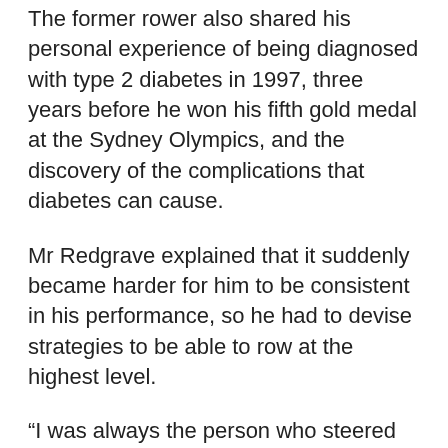The former rower also shared his personal experience of being diagnosed with type 2 diabetes in 1997, three years before he won his fifth gold medal at the Sydney Olympics, and the discovery of the complications that diabetes can cause.
Mr Redgrave explained that it suddenly became harder for him to be consistent in his performance, so he had to devise strategies to be able to row at the highest level.
“I was always the person who steered so I would be focusing on the buoys that came past the blade. As well as that, I was the tactician, making judgements on what our opponents were doing, so my vision was very